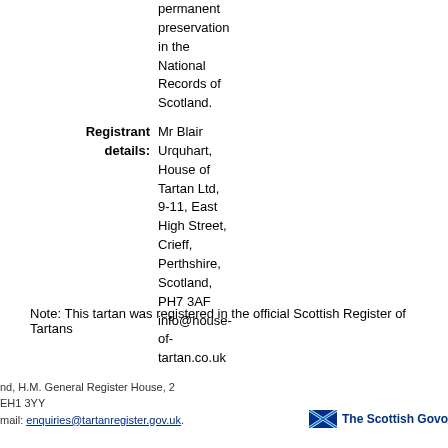permanent preservation in the National Records of Scotland.
Registrant details: Mr Blair Urquhart, House of Tartan Ltd, 9-11, East High Street, Crieff, Perthshire, Scotland, PH7 3AF info@house-of-tartan.co.uk
Note: This tartan was registered in the official Scottish Register of Tartans
nd, H.M. General Register House, 2
EH1 3YY
mail: enquiries@tartanregister.gov.uk.
The Scottish Govo